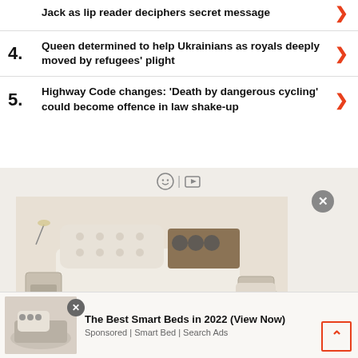Jack as lip reader deciphers secret message
4. Queen determined to help Ukrainians as royals deeply moved by refugees' plight
5. Highway Code changes: 'Death by dangerous cycling' could become offence in law shake-up
[Figure (photo): Advertisement showing a luxury smart bed with storage drawers, massage chair attachments, and speakers. Labeled 'The Best Smart Beds in 2022 (View Now)'. Sponsored by Smart Bed / Search Ads.]
The Best Smart Beds in 2022 (View Now)
Sponsored | Smart Bed | Search Ads